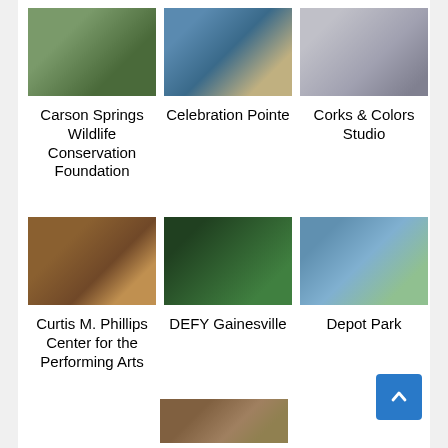[Figure (photo): Photo of Carson Springs Wildlife Conservation Foundation - animals behind fence/netting]
Carson Springs Wildlife Conservation Foundation
[Figure (photo): Photo of Celebration Pointe - storefront exterior with people]
Celebration Pointe
[Figure (photo): Photo of Corks & Colors Studio - wine bottles on shelves]
Corks & Colors Studio
[Figure (photo): Photo of Curtis M. Phillips Center for the Performing Arts - interior theater view]
Curtis M. Phillips Center for the Performing Arts
[Figure (photo): Photo of DEFY Gainesville - colorful indoor trampoline park]
DEFY Gainesville
[Figure (photo): Photo of Depot Park - wetlands/lake with clouds]
Depot Park
[Figure (photo): Partial photo at bottom of page - natural/outdoor scene]